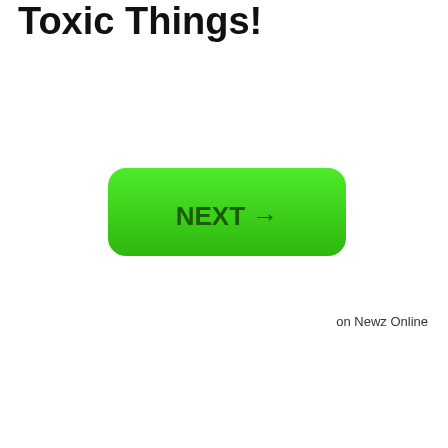Toxic Things!
[Figure (other): A green rounded rectangle button with the text 'NEXT →' in dark green bold font, with a gradient from bright green at top to slightly darker green at bottom.]
on Newz Online